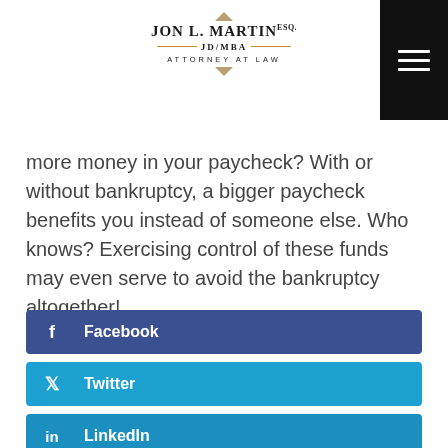JON L. MARTIN ESQ. JD/MBA ATTORNEY AT LAW
more money in your paycheck? With or without bankruptcy, a bigger paycheck benefits you instead of someone else. Who knows? Exercising control of these funds may even serve to avoid the bankruptcy altogether!
[Figure (other): Facebook social share button]
[Figure (other): Twitter social share button]
[Figure (other): LinkedIn social share button]